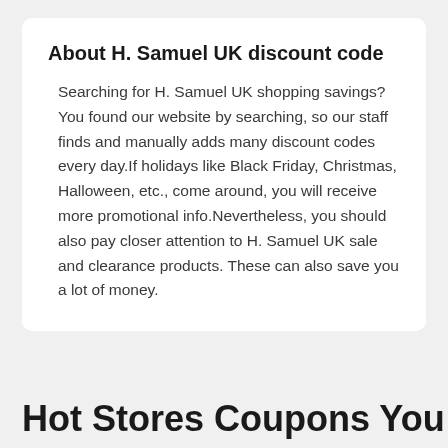About H. Samuel UK discount code
Searching for H. Samuel UK shopping savings?You found our website by searching, so our staff finds and manually adds many discount codes every day.If holidays like Black Friday, Christmas, Halloween, etc., come around, you will receive more promotional info.Nevertheless, you should also pay closer attention to H. Samuel UK sale and clearance products. These can also save you a lot of money.
Hot Stores Coupons You